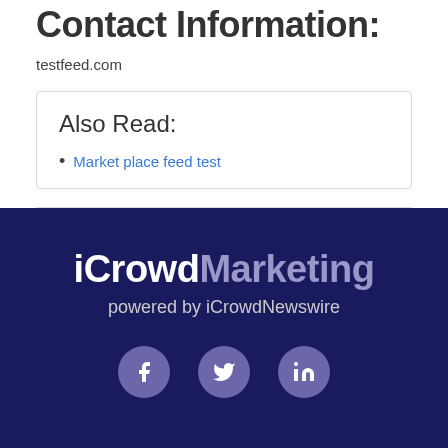Contact Information:
testfeed.com
Also Read:
Market place feed test
[Figure (logo): iCrowdMarketing logo with text 'powered by iCrowdNewswire' on a dark navy background, followed by three social media icons (Facebook, Twitter, LinkedIn)]